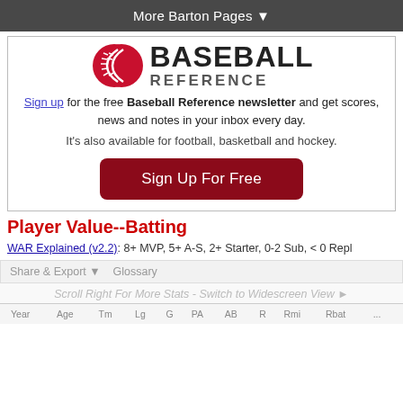More Barton Pages ▼
[Figure (logo): Baseball Reference logo with baseball graphic and bold BASEBALL REFERENCE text]
Sign up for the free Baseball Reference newsletter and get scores, news and notes in your inbox every day. It's also available for football, basketball and hockey.
Sign Up For Free
Player Value--Batting
WAR Explained (v2.2): 8+ MVP, 5+ A-S, 2+ Starter, 0-2 Sub, < 0 Repl
Share & Export ▼   Glossary
Scroll Right For More Stats - Switch to Widescreen View ►
Year Age Tm Lg G PA AB R Rmi Rbat ...